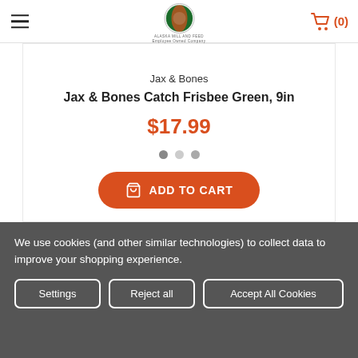Alaska Mill and Feed — Employee Owned Company
Jax & Bones
Jax & Bones Catch Frisbee Green, 9in
$17.99
[Figure (other): Add to Cart button with shopping basket icon]
We use cookies (and other similar technologies) to collect data to improve your shopping experience.
Settings | Reject all | Accept All Cookies